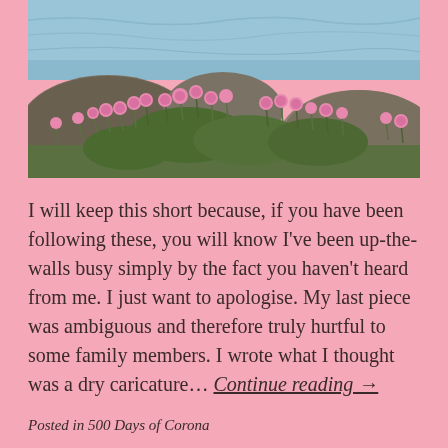[Figure (photo): Photograph of pink sea thrift flowers growing among rocks beside a body of water. Green grassy clumps with small pink blooms are clustered around grey-brown rocks, with rippling water visible in the background.]
I will keep this short because, if you have been following these, you will know I've been up-the-walls busy simply by the fact you haven't heard from me. I just want to apologise. My last piece was ambiguous and therefore truly hurtful to some family members. I wrote what I thought was a dry caricature… Continue reading →
Posted in 500 Days of Corona